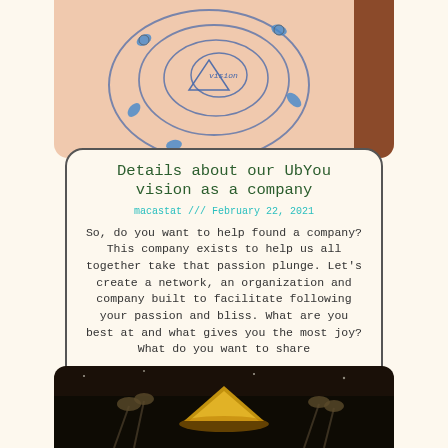[Figure (photo): Hand-drawn sketch on pink paper showing a spiral/circular design with figures and the word 'vision' in the center, blue marker accents around the spiral]
Details about our UbYou vision as a company
macastat /// February 22, 2021
So, do you want to help found a company? This company exists to help us all together take that passion plunge. Let’s create a network, an organization and company built to facilitate following your passion and bliss. What are you best at and what gives you the most joy? What do you want to share
Read More »
[Figure (photo): Dark nighttime outdoor photo showing illuminated yellow/gold tent or structure with grass and foliage in the foreground]